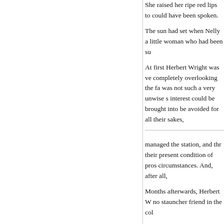She raised her ripe red lips to could have been spoken.
The sun had set when Nelly a little woman who had been su
At first Herbert Wright was ve completely overlooking the fa was not such a very unwise s interest could be brought into be avoided for all their sakes,
managed the station, and thr their present condition of pros circumstances. And, after all,
Months afterwards, Herbert W no stauncher friend in the col
It was just five weeks from the to be made man and wife. No beside her, and encouraged h before God to a man of whom
'And was it a happy marriage